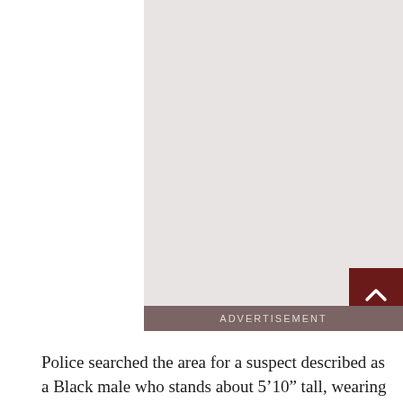[Figure (other): Advertisement placeholder image area with light beige/gray background]
ADVERTISEMENT
Police searched the area for a suspect described as a Black male who stands about 5’10” tall, wearing a black hoodie,